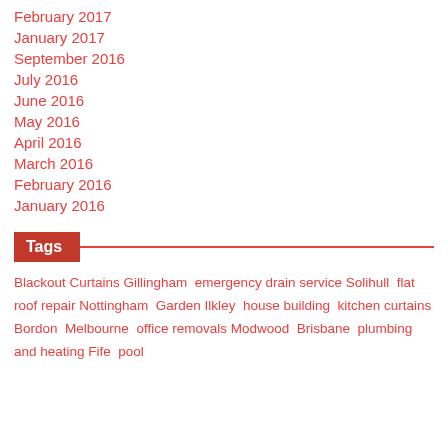February 2017
January 2017
September 2016
July 2016
June 2016
May 2016
April 2016
March 2016
February 2016
January 2016
Tags
Blackout Curtains Gillingham  emergency drain service Solihull  flat roof repair Nottingham  Garden Ilkley  house building  kitchen curtains Bordon  Melbourne  office removals Modwood  Brisbane  plumbing and heating Fife  pool